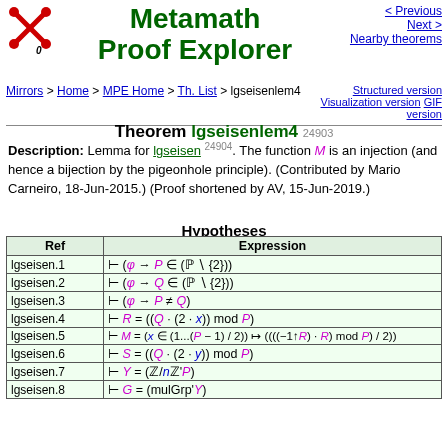Metamath Proof Explorer
Mirrors > Home > MPE Home > Th. List > lgseisenlem4  Structured version  Visualization version  GIF version
Theorem lgseisenlem4 24903
Description: Lemma for lgseisen 24904. The function M is an injection (and hence a bijection by the pigeonhole principle). (Contributed by Mario Carneiro, 18-Jun-2015.) (Proof shortened by AV, 15-Jun-2019.)
Hypotheses
| Ref | Expression |
| --- | --- |
| lgseisen.1 | ⊢ (φ → P ∈ (ℙ ∖ {2})) |
| lgseisen.2 | ⊢ (φ → Q ∈ (ℙ ∖ {2})) |
| lgseisen.3 | ⊢ (φ → P ≠ Q) |
| lgseisen.4 | ⊢ R = ((Q · (2 · x)) mod P) |
| lgseisen.5 | ⊢ M = (x ∈ (1...((P − 1) / 2)) ↦ ((((−1↑R) · R) mod P) / 2)) |
| lgseisen.6 | ⊢ S = ((Q · (2 · y)) mod P) |
| lgseisen.7 | ⊢ Y = (ℤ/nℤ'P) |
| lgseisen.8 | ⊢ G = (mulGrp'Y) |